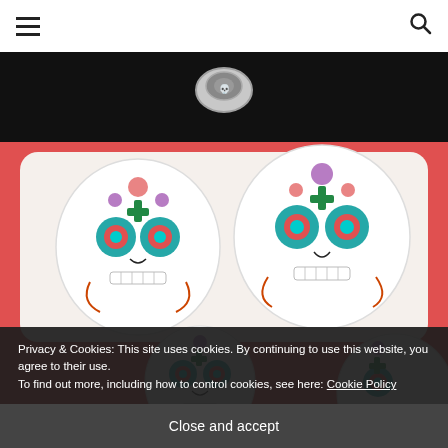☰  🔍
[Figure (photo): Close-up photo of decorated sugar skull cookies (Day of the Dead / Día de los Muertos style) with colorful floral patterns in teal, purple, red, and orange on a white background, resting on a red surface. A silver skull ring is visible at the top. Black background at top.]
Privacy & Cookies: This site uses cookies. By continuing to use this website, you agree to their use.
To find out more, including how to control cookies, see here: Cookie Policy
Close and accept